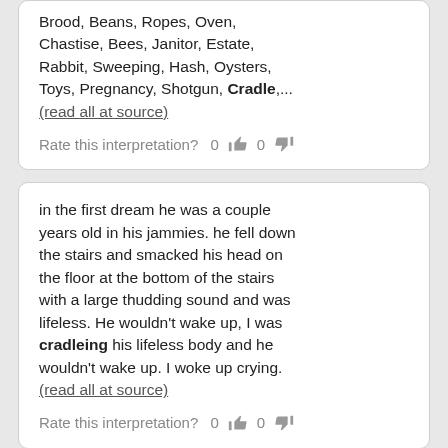Brood, Beans, Ropes, Oven, Chastise, Bees, Janitor, Estate, Rabbit, Sweeping, Hash, Oysters, Toys, Pregnancy, Shotgun, Cradle,... (read all at source)
Rate this interpretation? 0 [thumbsup] 0 [thumbsdown]
in the first dream he was a couple years old in his jammies. he fell down the stairs and smacked his head on the floor at the bottom of the stairs with a large thudding sound and was lifeless. He wouldn't wake up, I was cradleing his lifeless body and he wouldn't wake up. I woke up crying. (read all at source)
Rate this interpretation? 0 [thumbsup] 0 [thumbsdown]
Cradle Dreams Written by dreamdictionary.net If you are pregnant or planning a pregnancy, a cradle in a dream can